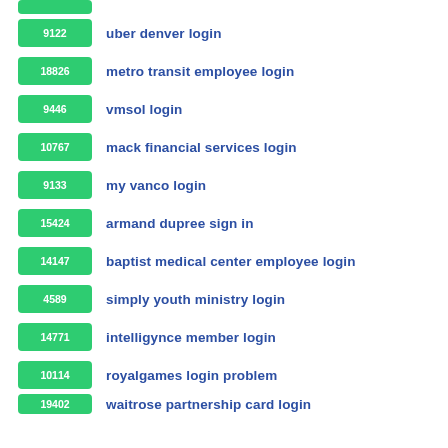[partial top item]
9122 uber denver login
18826 metro transit employee login
9446 vmsol login
10767 mack financial services login
9133 my vanco login
15424 armand dupree sign in
14147 baptist medical center employee login
4589 simply youth ministry login
14771 intelligynce member login
10114 royalgames login problem
19402 waitrose partnership card login